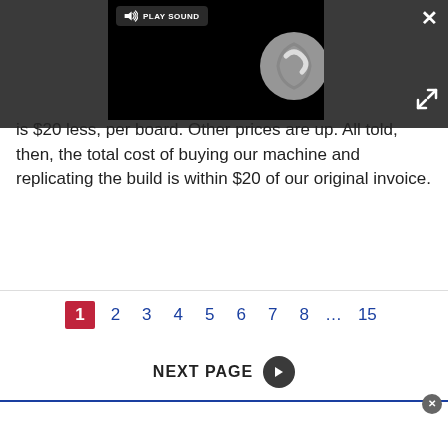[Figure (screenshot): Dark UI overlay with media player showing a loading spinner and a 'PLAY SOUND' button in top-left of player. Close (X) button top-right of dark bar. Expand/fullscreen arrow bottom-right of dark bar.]
is $20 less, per board. Other prices are up. All told, then, the total cost of buying our machine and replicating the build is within $20 of our original invoice.
1 2 3 4 5 6 7 8 ... 15
NEXT PAGE